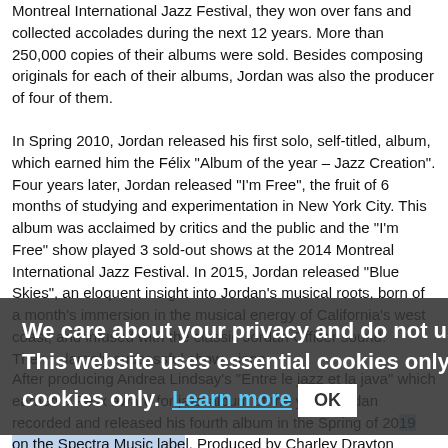Montreal International Jazz Festival, they won over fans and collected accolades during the next 12 years. More than 250,000 copies of their albums were sold. Besides composing originals for each of their albums, Jordan was also the producer of four of them.
In Spring 2010, Jordan released his first solo, self-titled, album, which earned him the Félix "Album of the year – Jazz Creation". Four years later, Jordan released "I'm Free", the fruit of 6 months of studying and experimentation in New York City. This album was acclaimed by critics and the public and the "I'm Free" show played 3 sold-out shows at the 2014 Montreal International Jazz Festival. In 2015, Jordan released "Blue Skies", an eloquent insight into Jordan's musical roots, born of a month's immersion in the musical energy of California's west coast, and infused with the classic Jordan Officer sound. The largely successful show audiences.
[Figure (other): Cookie consent overlay: 'We care about your privacy and do not use tracking cookies. This website uses essential cookies only. Learn more' with OK button]
After producing Andrea Lindsay's "Entre le jazz et la java" which earned a Félix award for jazz album of the year, Jordan recorded and released his fourth album in the Spring of 2019 on the Spectra Music label. Produced by Charley Drayton (Keith Richards, Miles Davis, Neil Young), "Three Rivers", recorded in NYC, features songs inspired by a road trip in the southern United States. The album won the Félix - Jazz Album of the Year at the 2018